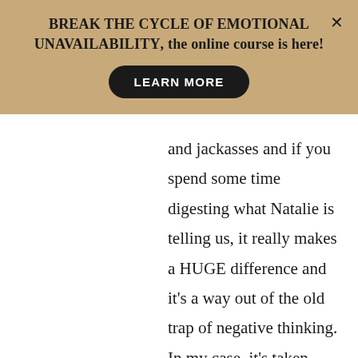[Figure (screenshot): Banner with tan/gold background promoting 'BREAK THE CYCLE OF EMOTIONAL UNAVAILABILITY, the online course is here!' with a black 'LEARN MORE' button and an X close button in the top right.]
and jackasses and if you spend some time digesting what Natalie is telling us, it really makes a HUGE difference and it’s a way out of the old trap of negative thinking. In my case, it’s taken years of people